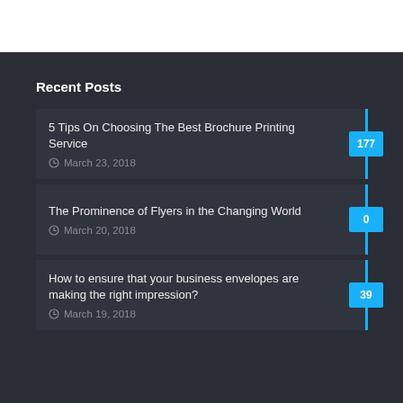Recent Posts
5 Tips On Choosing The Best Brochure Printing Service
March 23, 2018
177
The Prominence of Flyers in the Changing World
March 20, 2018
0
How to ensure that your business envelopes are making the right impression?
March 19, 2018
39